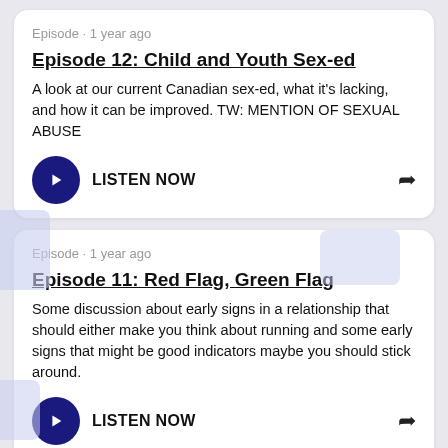Episode · 1 year ago
Episode 12: Child and Youth Sex-ed
A look at our current Canadian sex-ed, what it's lacking, and how it can be improved. TW: MENTION OF SEXUAL ABUSE
LISTEN NOW
Episode · 1 year ago
Episode 11: Red Flag, Green Flag
Some discussion about early signs in a relationship that should either make you think about running and some early signs that might be good indicators maybe you should stick around.
LISTEN NOW